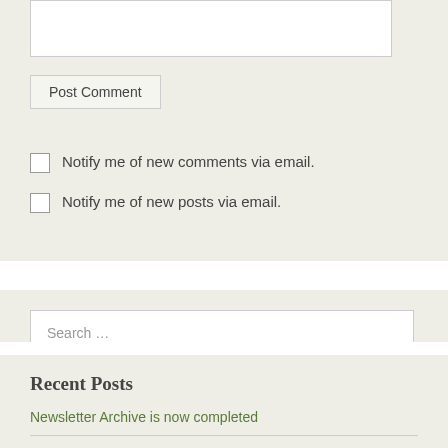[textarea box]
Post Comment
Notify me of new comments via email.
Notify me of new posts via email.
Search ...
Recent Posts
Newsletter Archive is now completed
MMAC Newsletter Archive